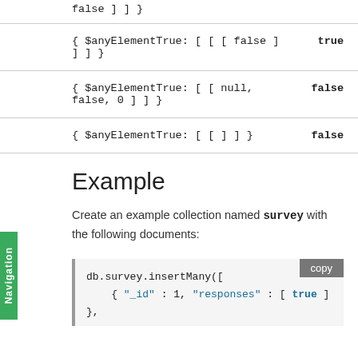| Expression | Result |
| --- | --- |
| false ] ] } |  |
| { $anyElementTrue: [ [ [ false ]   ] ] } | true |
| { $anyElementTrue: [ [ null,   false, 0 ] ] } | false |
| { $anyElementTrue: [ [ ] ] } | false |
Example
Create an example collection named survey with the following documents:
[Figure (screenshot): Code block showing db.survey.insertMany([ { "_id" : 1, "responses" : [ true ] },  with a copy button]
copy button